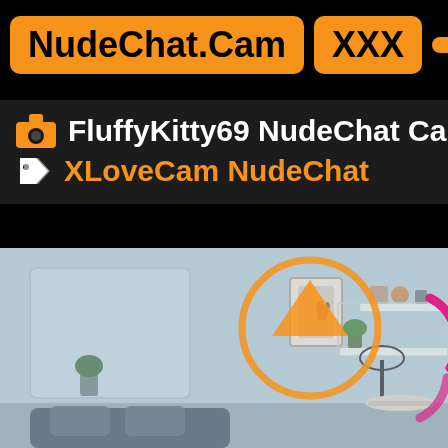NudeChat.Cam XXX
FluffyKitty69 NudeChat Cam
XLoveCam NudeChat
[Figure (photo): Blurred room interior with shelves, plants, a lamp, sofa with cushions, framed art on wall. Overlay shows an orange upward arrow circle icon and a pink/magenta loading circle icon.]